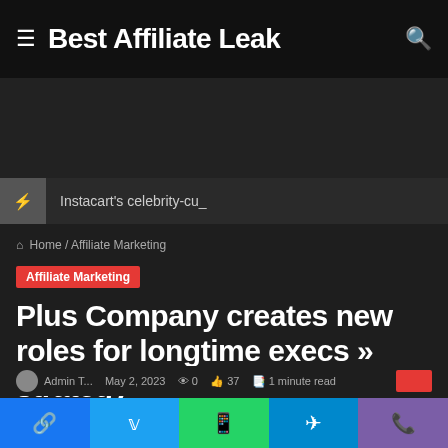Best Affiliate Leak
Instacart's celebrity-cu_
Home / Affiliate Marketing
Affiliate Marketing
Plus Company creates new roles for longtime execs » strategy
Admin T... May 2, 2023 ... 37 ... 1 minute read